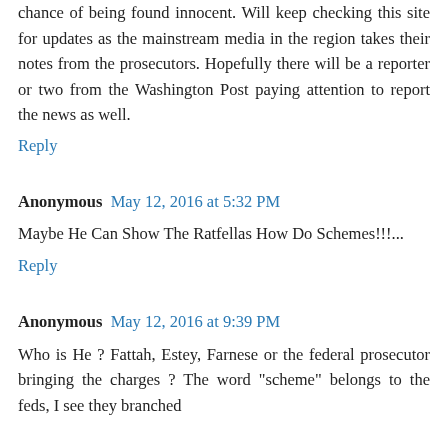chance of being found innocent. Will keep checking this site for updates as the mainstream media in the region takes their notes from the prosecutors. Hopefully there will be a reporter or two from the Washington Post paying attention to report the news as well.
Reply
Anonymous May 12, 2016 at 5:32 PM
Maybe He Can Show The Ratfellas How Do Schemes!!!...
Reply
Anonymous May 12, 2016 at 9:39 PM
Who is He ? Fattah, Estey, Farnese or the federal prosecutor bringing the charges ? The word "scheme" belongs to the feds, I see they branched